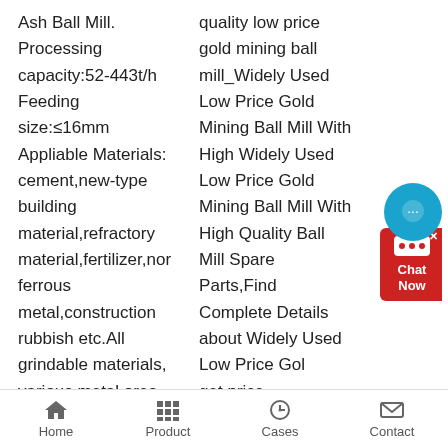Ash Ball Mill. Processing capacity:52-443t/h Feeding size:≤16mm Appliable Materials: cement,new-type building material,refractory material,fertilizer,non ferrous metal,construction rubbish etc.All grindable materials, various metal ores, non get price
quality low price gold mining ball mill_Widely Used Low Price Gold Mining Ball Mill With High Widely Used Low Price Gold Mining Ball Mill With High Quality Ball Mill Spare Parts,Find Complete Details about Widely Used Low Price Gol get price
[Figure (screenshot): Red Chat Now widget with close button and speech bubble dots, and blue circular chat bubble icon]
Home | Product | Cases | Contact